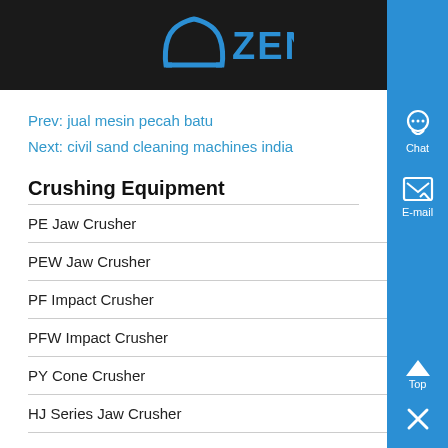ZENIT
Prev: jual mesin pecah batu
Next: civil sand cleaning machines india
Crushing Equipment
PE Jaw Crusher
PEW Jaw Crusher
PF Impact Crusher
PFW Impact Crusher
PY Cone Crusher
HJ Series Jaw Crusher